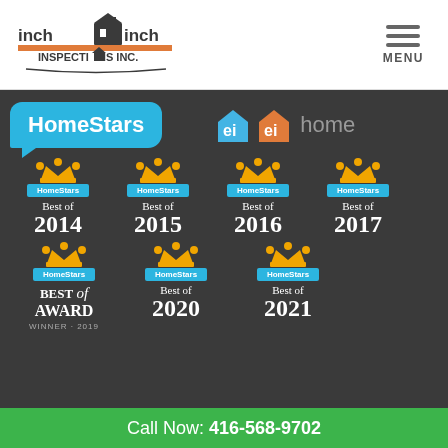[Figure (logo): Inch by Inch Inspections Inc. logo in header]
[Figure (logo): Hamburger menu icon with MENU text]
[Figure (logo): HomeStars speech bubble logo]
[Figure (logo): ei ei home logo with blue and orange house icons]
[Figure (illustration): HomeStars Best of 2014 award badge with crown]
[Figure (illustration): HomeStars Best of 2015 award badge with crown]
[Figure (illustration): HomeStars Best of 2016 award badge with crown]
[Figure (illustration): HomeStars Best of 2017 award badge with crown]
[Figure (illustration): HomeStars Best of Award Winner 2019 badge with crown]
[Figure (illustration): HomeStars Best of 2020 award badge with crown]
[Figure (illustration): HomeStars Best of 2021 award badge with crown]
Call Now: 416-568-9702